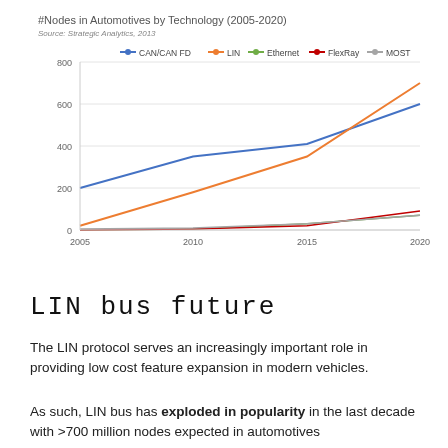[Figure (line-chart): #Nodes in Automotives by Technology (2005-2020)]
LIN bus future
The LIN protocol serves an increasingly important role in providing low cost feature expansion in modern vehicles.
As such, LIN bus has exploded in popularity in the last decade with >700 million nodes expected in automotives